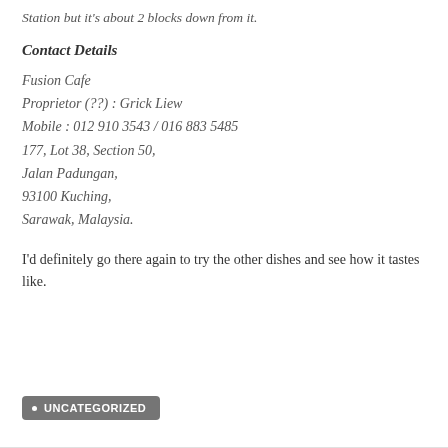Station but it's about 2 blocks down from it.
Contact Details
Fusion Cafe
Proprietor (??) : Grick Liew
Mobile : 012 910 3543 / 016 883 5485
177, Lot 38, Section 50,
Jalan Padungan,
93100 Kuching,
Sarawak, Malaysia.
I'd definitely go there again to try the other dishes and see how it tastes like.
• UNCATEGORIZED